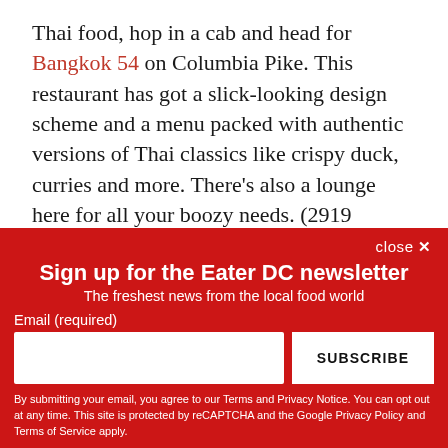Thai food, hop in a cab and head for Bangkok 54 on Columbia Pike. This restaurant has got a slick-looking design scheme and a menu packed with authentic versions of Thai classics like crispy duck, curries and more. There's also a lounge here for all your boozy needs. (2919 Columbia Pike, Arlington, 10 minutes from the airport.)
close ×
Sign up for the Eater DC newsletter
The freshest news from the local food world
Email (required)
SUBSCRIBE
By submitting your email, you agree to our Terms and Privacy Notice. You can opt out at any time. This site is protected by reCAPTCHA and the Google Privacy Policy and Terms of Service apply.